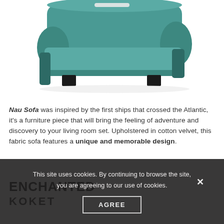[Figure (photo): Teal/green velvet sofa with Art Deco design, viewed from front-right angle, against white background]
Nau Sofa was inspired by the first ships that crossed the Atlantic, it's a furniture piece that will bring the feeling of adventure and discovery to your living room set. Upholstered in cotton velvet, this fabric sofa features a unique and memorable design.
ENCHANTED
KOKET
This site uses cookies. By continuing to browse the site, you are agreeing to our use of cookies.
AGREE